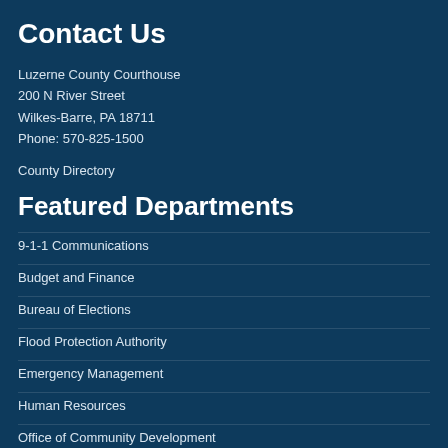Contact Us
Luzerne County Courthouse
200 N River Street
Wilkes-Barre, PA 18711
Phone: 570-825-1500
County Directory
Featured Departments
9-1-1 Communications
Budget and Finance
Bureau of Elections
Flood Protection Authority
Emergency Management
Human Resources
Office of Community Development
Solid Waste Management